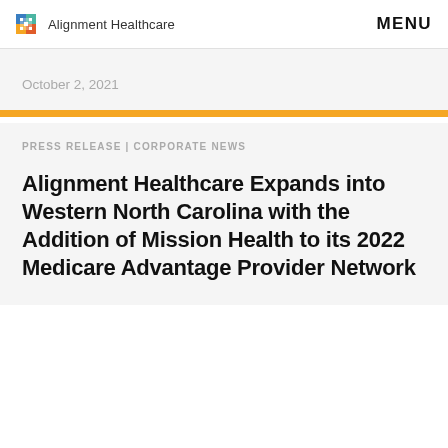Alignment Healthcare | MENU
October 2, 2021
PRESS RELEASE | CORPORATE NEWS
Alignment Healthcare Expands into Western North Carolina with the Addition of Mission Health to its 2022 Medicare Advantage Provider Network